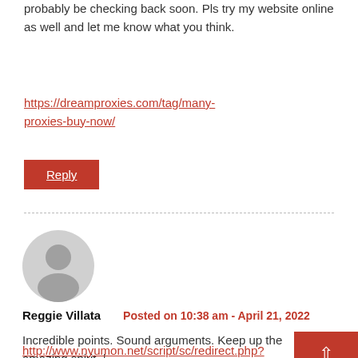probably be checking back soon. Pls try my website online as well and let me know what you think.
https://dreamproxies.com/tag/many-proxies-buy-now/
Reply
Reggie Villata    Posted on 10:38 am - April 21, 2022
Incredible points. Sound arguments. Keep up the amazing spirit. |
http://www.nyumon.net/script/sc/redirect.php?